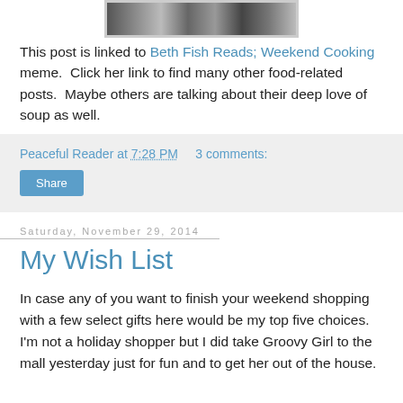[Figure (photo): Partial image strip at top of page showing a cropped photo]
This post is linked to Beth Fish Reads; Weekend Cooking meme.  Click her link to find many other food-related posts.  Maybe others are talking about their deep love of soup as well.
Peaceful Reader at 7:28 PM    3 comments:
Share
Saturday, November 29, 2014
My Wish List
In case any of you want to finish your weekend shopping with a few select gifts here would be my top five choices.  I'm not a holiday shopper but I did take Groovy Girl to the mall yesterday just for fun and to get her out of the house.